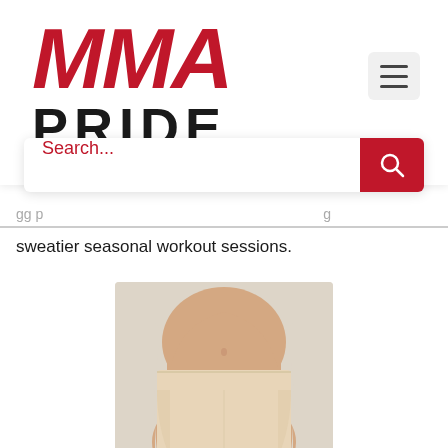MMA PRIDE
sweatier seasonal workout sessions.
[Figure (photo): Product photo of beige/nude high-waist underwear worn by a model, cropped to show torso and hips against a light background.]